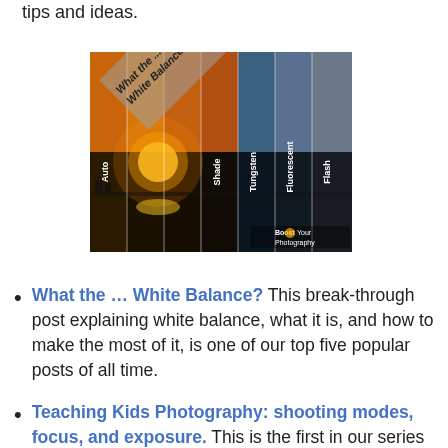tips and ideas.
[Figure (photo): A composite image showing the same sunset landscape photographed under different white balance settings, labeled with: Auto, What the ... White Balance (diagonal text overlay), Cloudy, Shade, Tungsten, Fluorescent, Flash. Branded 'Boost Your Photography' in the lower right corner.]
What the … White Balance? This break-through post explaining white balance, what it is, and how to make the most of it, is one of our top five popular posts of all time.
Teaching Kids Photography: shooting modes, focus, and exposure. This is the first in our series of posts about teaching kids photography, based on my experiences running a photography club with elementary and middle school students. Learn about